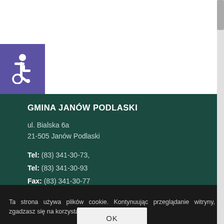[Figure (illustration): Accessibility icon — white wheelchair symbol on purple/indigo square background]
GMINA JANÓW PODLASKI
ul. Bialska 6a
21-505 Janów Podlaski
Tel: (83) 341-30-73,
Tel: (83) 341-30-93
Fax: (83) 341-30-77
Email: ug@janowpodlaski.pl
Ta strona używa plików cookie. Kontynuując przeglądanie witryny, zgadzasz się na korzystanie z plików cookie.
OK